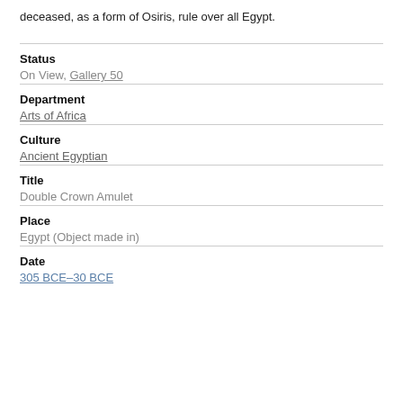deceased, as a form of Osiris, rule over all Egypt.
Status
On View, Gallery 50
Department
Arts of Africa
Culture
Ancient Egyptian
Title
Double Crown Amulet
Place
Egypt (Object made in)
Date
305 BCE–30 BCE